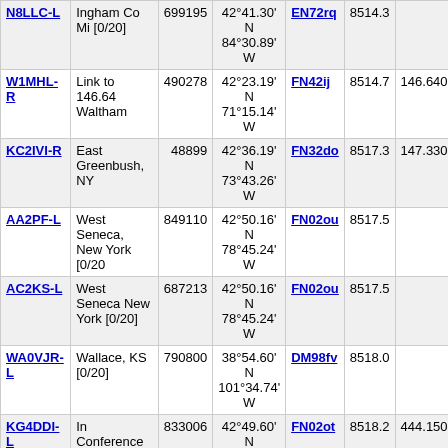| Callsign | Location | Node | Coordinates | Grid | Num1 | Num2 |
| --- | --- | --- | --- | --- | --- | --- |
| N8LLC-L | Ingham Co Mi [0/20] | 699195 | 42°41.30' N 84°30.89' W | EN72rq | 8514.3 |  |
| W1MHL-R | Link to 146.64 Waltham | 490278 | 42°23.19' N 71°15.14' W | FN42ij | 8514.7 | 146.640 |
| KC2IVI-R | East Greenbush, NY | 48899 | 42°36.19' N 73°43.26' W | FN32do | 8517.3 | 147.330 |
| AA2PF-L | West Seneca, New York [0/20 | 849110 | 42°50.16' N 78°45.24' W | FN02ou | 8517.5 |  |
| AC2KS-L | West Seneca New York [0/20] | 687213 | 42°50.16' N 78°45.24' W | FN02ou | 8517.5 |  |
| WA0VJR-L | Wallace, KS [0/20] | 790800 | 38°54.60' N 101°34.74' W | DM98fv | 8518.0 |  |
| KG4DDI-L | In Conference *SELINK* | 833006 | 42°49.60' N 78°49.32' W | FN02ot | 8518.2 | 444.150 |
| N4UPC-R | In Conference *ALASKA* | 591318 | 42°49.60' N 78°49.32' W | FN02ot | 8518.2 | 444.150 |
| WB2JPQ-L | #1 East Coast HUB1 [1/20] | 375103 | 42°49.60' N 78°49.32' W | FN02ot | 8518.2 | 444.150 |
| WB2JPQ-R | #2 East Coast HUB3 [2/20] | 57780 | 42°49.60' N 78°49.32' W | FN02ot | 8518.2 | 444.150 |
| AB2OQ-L | Lackawanna, NY [0/20] | 357971 | 42°48.91' N 78°48.07' W | FN02ot | 8519.0 |  |
| KC9ONA-R | Huntley, IL [0/20] | 916580 | 42°12.14' N 88°34.45' W | EN52te | 8519.2 | 446.025 |